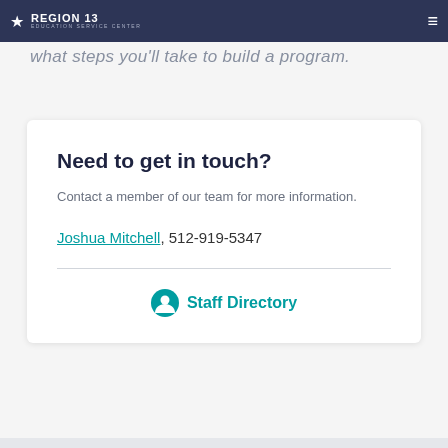REGION 13 EDUCATION SERVICE CENTER
what steps you'll take to build a program.
Need to get in touch?
Contact a member of our team for more information.
Joshua Mitchell, 512-919-5347
Staff Directory